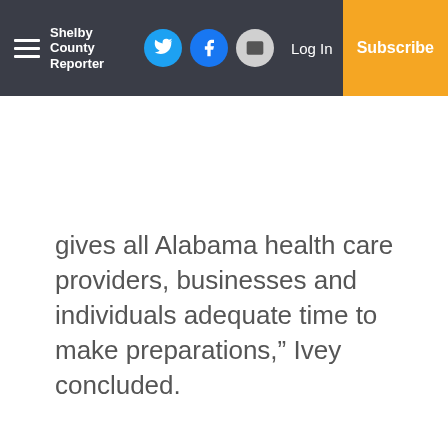Shelby County Reporter — Log In — Subscribe
gives all Alabama health care providers, businesses and individuals adequate time to make preparations,” Ivey concluded.